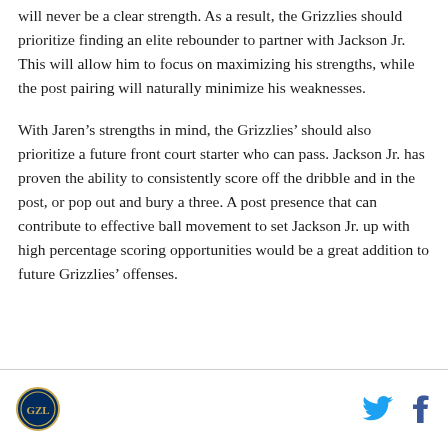will never be a clear strength. As a result, the Grizzlies should prioritize finding an elite rebounder to partner with Jackson Jr. This will allow him to focus on maximizing his strengths, while the post pairing will naturally minimize his weaknesses.
With Jaren's strengths in mind, the Grizzlies' should also prioritize a future front court starter who can pass. Jackson Jr. has proven the ability to consistently score off the dribble and in the post, or pop out and bury a three. A post presence that can contribute to effective ball movement to set Jackson Jr. up with high percentage scoring opportunities would be a great addition to future Grizzlies' offenses.
[Logo] [Twitter icon] [Facebook icon]